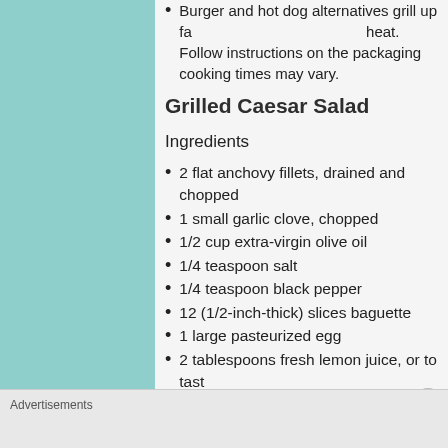Burger and hot dog alternatives grill up faster than meat over direct heat. Follow instructions on the packaging, as cooking times may vary.
Grilled Caesar Salad
Ingredients
2 flat anchovy fillets, drained and chopped
1 small garlic clove, chopped
1/2 cup extra-virgin olive oil
1/4 teaspoon salt
1/4 teaspoon black pepper
12 (1/2-inch-thick) slices baguette
1 large pasteurized egg
2 tablespoons fresh lemon juice, or to taste
3 hearts of romaine (18 ounces)
Advertisements